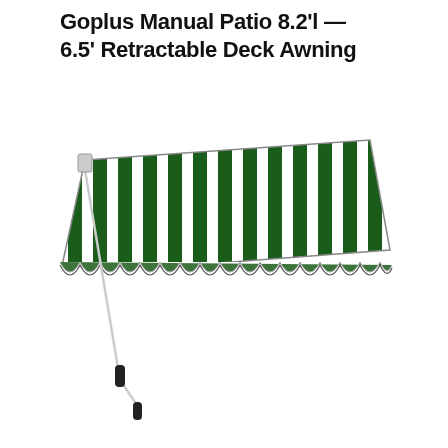Goplus Manual Patio 8.2'l — 6.5' Retractable Deck Awning
[Figure (photo): A green and white striped retractable patio deck awning, fully extended, with a manual crank handle on the left side. The awning features alternating dark green and white vertical stripes with a scalloped front valance edge. A white metal support arm extends from the wall mount on the upper left, and the hand crank rod hangs down on the left with a black handle at the bottom.]